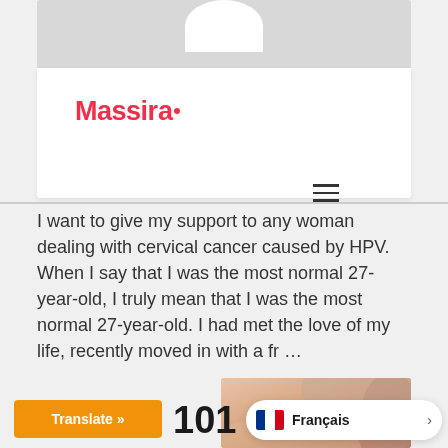[Figure (photo): Top portion of a gray card showing partial white circular avatar at the top center]
[Figure (logo): Massira logo in red/pink with a small dot accent]
I want to give my support to any woman dealing with cervical cancer caused by HPV. When I say that I was the most normal 27-year-old, I truly mean that I was the most normal 27-year-old. I had met the love of my life, recently moved in with a fr …
[Figure (photo): Partial photo of a woman with light hair, visible from neck/shoulder area, warm pinkish tones]
101
Translate »
Français